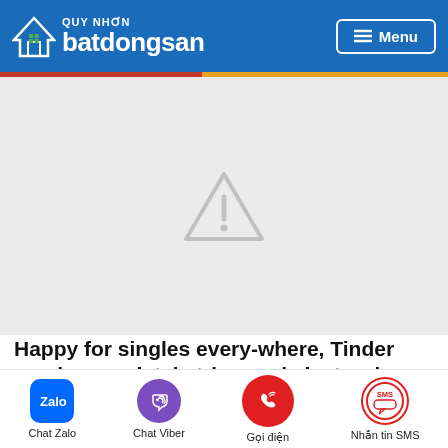[Figure (logo): QUY NHON batdongsan logo with house icon on blue background header, with Menu button on the right]
[Figure (other): Light gray image placeholder area with a warning triangle icon in the center]
Happy for singles every-where, Tinder sends completely triggered electronic mails whenever people were
[Figure (infographic): Bottom navigation bar with Chat Zalo, Chat Viber, Goi dien (phone call), and Nhan tin SMS icons]